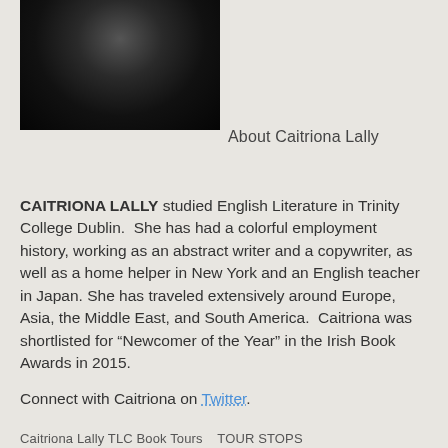[Figure (photo): Black and white portrait photo of Caitriona Lally]
About Caitriona Lally
CAITRIONA LALLY studied English Literature in Trinity College Dublin.  She has had a colorful employment history, working as an abstract writer and a copywriter, as well as a home helper in New York and an English teacher in Japan. She has traveled extensively around Europe, Asia, the Middle East, and South America.  Caitriona was shortlisted for “Newcomer of the Year” in the Irish Book Awards in 2015.
Connect with Caitriona on Twitter.
Caitriona Lally TLC Book Tours   TOUR STOPS